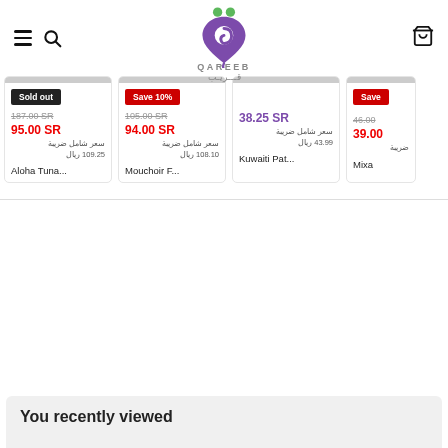[Figure (logo): Qareeb logo - purple location pin with green dots and QAREEB / قريب text]
Sold out
187.00 SR
95.00 SR
سعر شامل ضريبة
109.25 ريال
Aloha Tuna...
Save 10%
105.00 SR
94.00 SR
سعر شامل ضريبة
108.10 ريال
Mouchoir F...
38.25 SR
سعر شامل ضريبة
43.99 ريال
Kuwaiti Pat...
Save
46.00
39.00
ضريبة
Mixa
You recently viewed